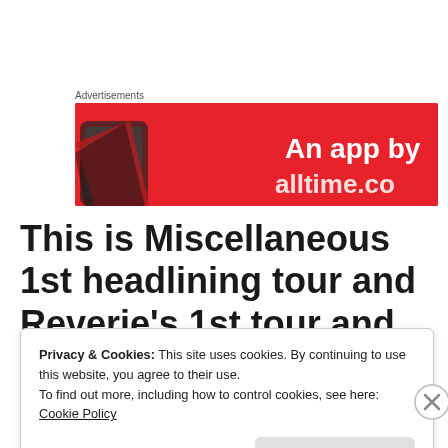Advertisements
[Figure (photo): Red advertisement banner with text 'An app by' and partial view of a smartphone on the left]
This is Miscellaneous 1st headlining tour and Reverie's 1st tour and time in central Illinois and
Privacy & Cookies: This site uses cookies. By continuing to use this website, you agree to their use.
To find out more, including how to control cookies, see here: Cookie Policy
Close and accept